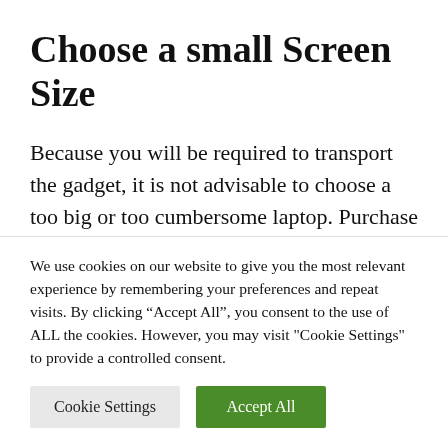Choose a small Screen Size
Because you will be required to transport the gadget, it is not advisable to choose a too big or too cumbersome laptop. Purchase a 13-inch laptop with a very tiny screen if you can afford to do so. If you purchase a computer with a huge monitor,
We use cookies on our website to give you the most relevant experience by remembering your preferences and repeat visits. By clicking “Accept All”, you consent to the use of ALL the cookies. However, you may visit "Cookie Settings" to provide a controlled consent.